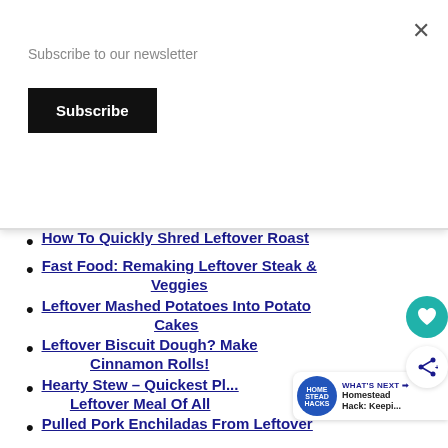Subscribe to our newsletter
Subscribe
×
Pork Roast
How To Quickly Shred Leftover Roast
Fast Food: Remaking Leftover Steak & Veggies
Leftover Mashed Potatoes Into Potato Cakes
Leftover Biscuit Dough? Make Cinnamon Rolls!
Hearty Stew – Quickest Pl... Leftover Meal Of All
Pulled Pork Enchiladas From Leftover...